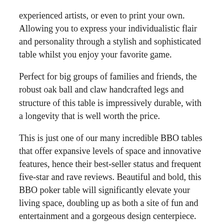experienced artists, or even to print your own. Allowing you to express your individualistic flair and personality through a stylish and sophisticated table whilst you enjoy your favorite game.
Perfect for big groups of families and friends, the robust oak ball and claw handcrafted legs and structure of this table is impressively durable, with a longevity that is well worth the price.
This is just one of our many incredible BBO tables that offer expansive levels of space and innovative features, hence their best-seller status and frequent five-star and rave reviews. Beautiful and bold, this BBO poker table will significantly elevate your living space, doubling up as both a site of fun and entertainment and a gorgeous design centerpiece.
If you want to browse specifically through our site for a sensational BBO poker table, you should visit both our complete poker tables by BBO collection and BBO poker tables collection to get the complete BBO experience. This is